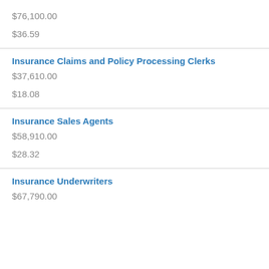$76,100.00
$36.59
Insurance Claims and Policy Processing Clerks
$37,610.00
$18.08
Insurance Sales Agents
$58,910.00
$28.32
Insurance Underwriters
$67,790.00